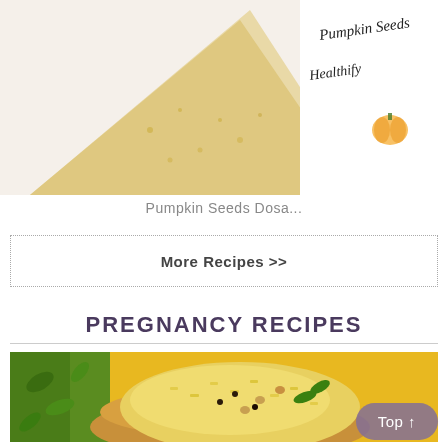[Figure (photo): Close-up photo of a pumpkin seeds dosa (Indian crepe) on a white plate with text overlay reading 'Pumpkin Seeds Healthify' and a pumpkin illustration]
Pumpkin Seeds Dosa...
More Recipes >>
PREGNANCY RECIPES
[Figure (photo): Photo of a bowl of yellow lemon rice or turmeric rice with curry leaves, mustard seeds, and peanuts, garnished with curry leaves on a yellow background]
Top ↑